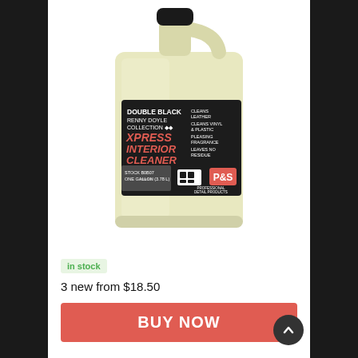[Figure (photo): A gallon jug of P&S Double Black Renny Doyle Collection Xpress Interior Cleaner. Yellow liquid in a translucent plastic jug with a black cap. Label on the front is dark with orange and white text listing product features: Cleans Leather, Cleans Vinyl & Plastic, Pleasing Fragrance, Leaves No Residue. Stock B0B07, One Gallon (3.78 L).]
in stock
3 new from $18.50
BUY NOW